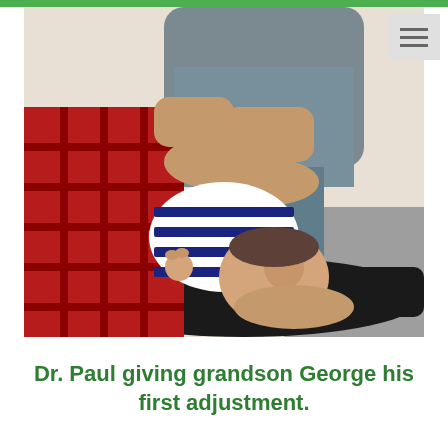[Figure (photo): A chiropractor (Dr. Paul) performing an adjustment on a newborn baby named George. The baby is wearing a black and white striped outfit, lying on a black chiropractic table. An adult in a red plaid shirt is holding the baby while Dr. Paul's hands are placed on the baby's back/spine area. The setting appears to be a chiropractic clinic with grey carpet visible.]
Dr. Paul giving grandson George his first adjustment.